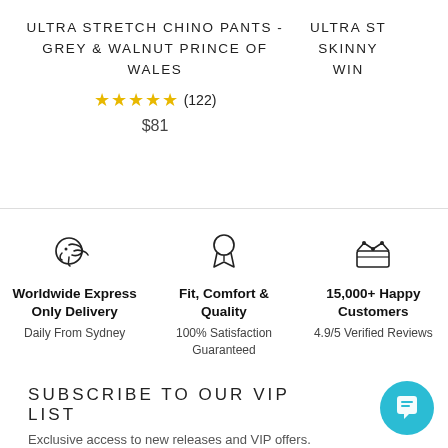ULTRA STRETCH CHINO PANTS - GREY & WALNUT PRINCE OF WALES
★★★★★ (122)
$81
ULTRA ST SKINNY WIN
[Figure (illustration): Icon of a bird/delivery figure for worldwide express delivery]
Worldwide Express Only Delivery
Daily From Sydney
[Figure (illustration): Icon of a medal/ribbon for fit, comfort & quality]
Fit, Comfort & Quality
100% Satisfaction Guaranteed
[Figure (illustration): Icon of a crown/award for 15,000+ happy customers]
15,000+ Happy Customers
4.9/5 Verified Reviews
SUBSCRIBE TO OUR VIP LIST
Exclusive access to new releases and VIP offers.
[Figure (illustration): Teal circular chat button with message icon]